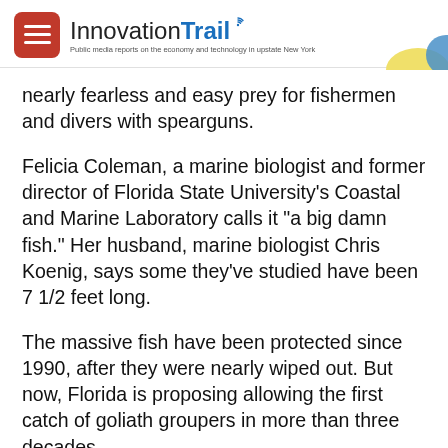InnovationTrail — Public media reports on the economy and technology in upstate New York
nearly fearless and easy prey for fishermen and divers with spearguns.
Felicia Coleman, a marine biologist and former director of Florida State University's Coastal and Marine Laboratory calls it "a big damn fish." Her husband, marine biologist Chris Koenig, says some they've studied have been 7 1/2 feet long.
The massive fish have been protected since 1990, after they were nearly wiped out. But now, Florida is proposing allowing the first catch of goliath groupers in more than three decades.
Coleman and Koenig are retired from Florida State